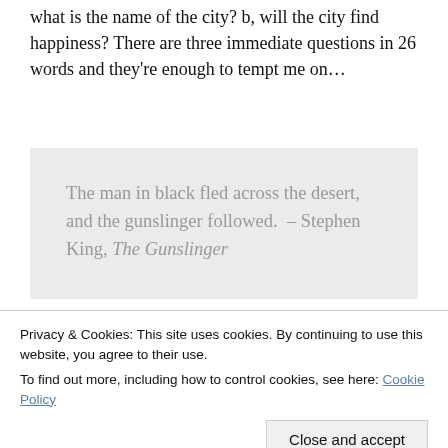what is the name of the city? b, will the city find happiness? There are three immediate questions in 26 words and they're enough to tempt me on...
The man in black fled across the desert, and the gunslinger followed. – Stephen King, The Gunslinger
Four questions in the opening twelve words. 1, who is the man in black? 2, who is the gunslinger? 3, will the
Privacy & Cookies: This site uses cookies. By continuing to use this website, you agree to their use.
To find out more, including how to control cookies, see here: Cookie Policy
5. Don't worry